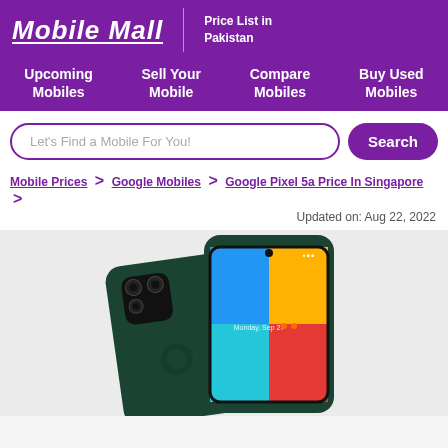Mobile Mall | Price List in Pakistan
Upcoming Mobiles | Sell Your Mobile | Compare Mobiles | Buy Used Mobiles
Let's Find a Mobile For You! [Search]
Mobile Prices > Google Mobiles > Google Pixel 5a Price In Singapore > Updated on: Aug 22, 2022
[Figure (photo): Google Pixel 5a smartphone shown from the back and front, dark green color, displaying a colorful wallpaper on screen]